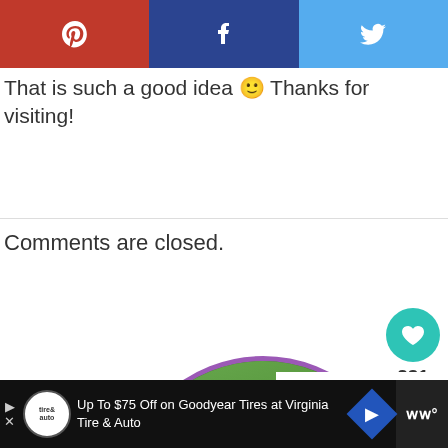[Figure (other): Social media share buttons bar: Pinterest (red), Facebook (dark blue), Twitter (light blue)]
That is such a good idea 🙂 Thanks for visiting!
Comments are closed.
[Figure (other): Heart/like button widget showing count 231 and a share button]
[Figure (photo): Circular profile photo of a person with grey hair outdoors among green foliage, framed with purple border]
[Figure (other): What's Next widget with thumbnail and title: How To Start Planning Yo...]
[Figure (other): Advertisement bar: Up To $75 Off on Goodyear Tires at Virginia Tire & Auto]